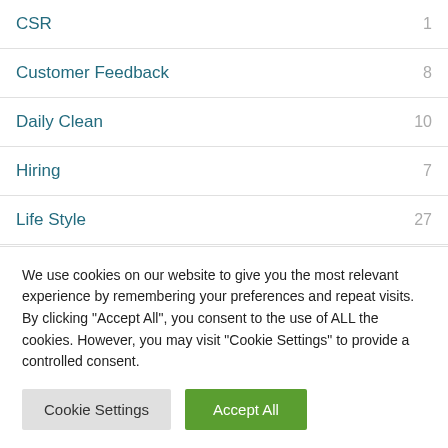CSR 1
Customer Feedback 8
Daily Clean 10
Hiring 7
Life Style 27
Other Services 5
We use cookies on our website to give you the most relevant experience by remembering your preferences and repeat visits. By clicking "Accept All", you consent to the use of ALL the cookies. However, you may visit "Cookie Settings" to provide a controlled consent.
Cookie Settings | Accept All